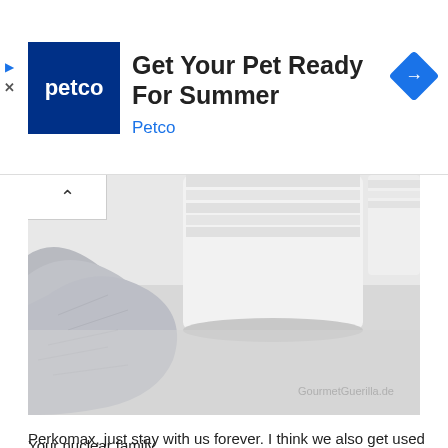[Figure (advertisement): Petco ad banner with dark blue Petco logo square on left, headline 'Get Your Pet Ready For Summer', brand name 'Petco' in blue, and a blue diamond arrow icon on the right. Small play and X icons on far left.]
[Figure (photo): Black and white close-up photo of white ceramic containers and a folded gray cloth/towel on a white surface. Watermark reads 'GourmetGuerilla.de' in bottom right.]
Perkomax, just stay with us forever. I think we also get used to your name and you come to the Gisela around it.
Your nuclear family